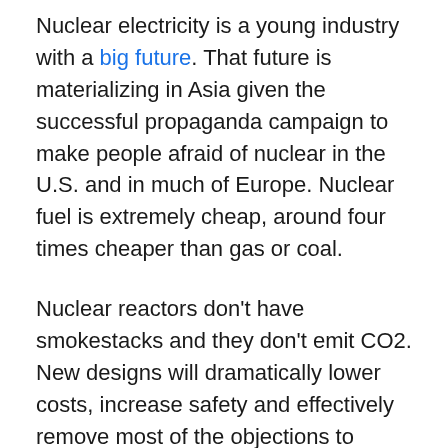Nuclear electricity is a young industry with a big future. That future is materializing in Asia given the successful propaganda campaign to make people afraid of nuclear in the U.S. and in much of Europe. Nuclear fuel is extremely cheap, around four times cheaper than gas or coal.
Nuclear reactors don't have smokestacks and they don't emit CO2. New designs will dramatically lower costs, increase safety and effectively remove most of the objections to nuclear. It is an incredible contradiction that most environmental organizations advocate wind and solar and demonize nuclear. In the future nuclear may be cost competitive with natural gas.
It is an intellectual and economic failure that the 30 U.S. states with policies designed to reduce CO2 emissions, called renewable portfolio standards, mostly explicitly